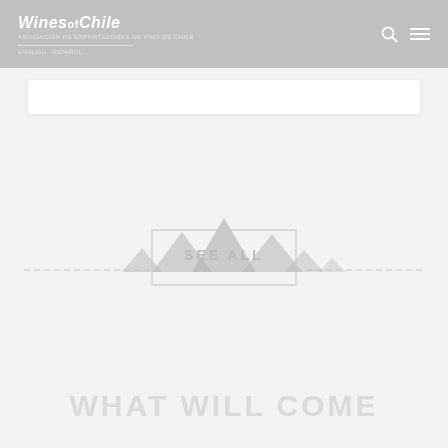Wines of Chile
[Figure (screenshot): Wines of Chile website screenshot showing header navigation with logo, search icon, and menu icon; a search bar; a 'SEE ALL' button with mountain graphic divider; and large text 'WHAT WILL COME' at the bottom]
SEE ALL
WHAT WILL COME